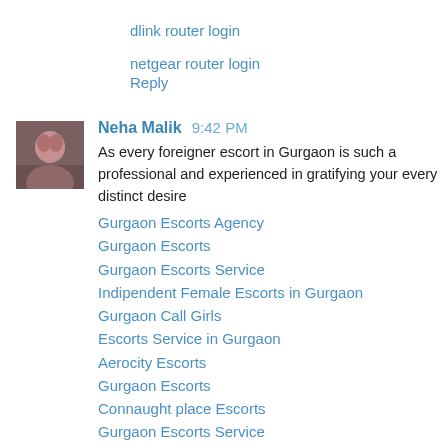dlink router login
netgear router login
Reply
Neha Malik  9:42 PM
As every foreigner escort in Gurgaon is such a professional and experienced in gratifying your every distinct desire
Gurgaon Escorts Agency
Gurgaon Escorts
Gurgaon Escorts Service
Indipendent Female Escorts in Gurgaon
Gurgaon Call Girls
Escorts Service in Gurgaon
Aerocity Escorts
Gurgaon Escorts
Connaught place Escorts
Gurgaon Escorts Service
Escorts in Connaught place
Escorts Service in Gurgaon